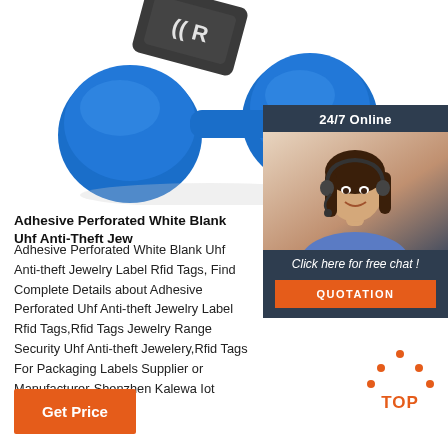[Figure (photo): RFID tag/key fob device with blue rubber ring and dark grey RFID reader label shown from above, cropped at top]
[Figure (photo): 24/7 Online chat panel with customer service agent (woman with headset smiling), dark background with orange QUOTATION button and italic Click here for free chat text]
Adhesive Perforated White Blank Uhf Anti-Theft Jew
Adhesive Perforated White Blank Uhf Anti-theft Jewelry Label Rfid Tags, Find Complete Details about Adhesive Perforated Uhf Anti-theft Jewelry Label Rfid Tags,Rfid Tags Jewelry Range Security Uhf Anti-theft Jewelery,Rfid Tags For Packaging Labels Supplier or Manufacturer-Shenzhen Kalewa Iot Technology Co., Ltd.
[Figure (other): Orange TOP arrow icon with dots forming an upward triangle above the word TOP in orange]
Get Price